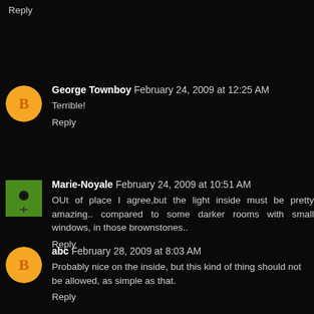Reply
George Townboy  February 24, 2009 at 12:25 AM
Terrible!
Reply
Marie-Noyale  February 24, 2009 at 10:51 AM
OUt of place I agree,but the light inside must be pretty amazing.. compared to some darker rooms with small windows, in those brownstones..
Reply
abc  February 28, 2009 at 8:03 AM
Probably nice on the inside, but this kind of thing should not be allowed, as simple as that.
Reply